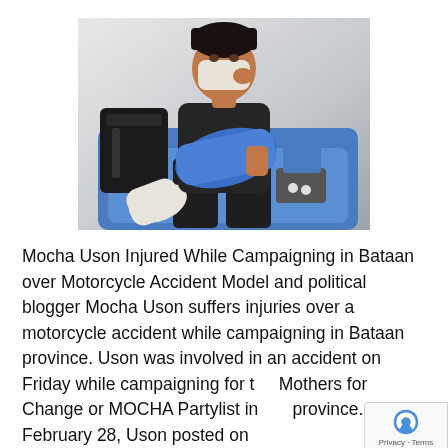[Figure (photo): A person wearing a face mask sitting on a medical/dental-style recliner chair with a blue arm sling, dressed in dark clothing, with a white-bandaged leg and a dark backpack beside them. The setting appears to be a medical facility or clinic.]
Mocha Uson Injured While Campaigning in Bataan over Motorcycle Accident Model and political blogger Mocha Uson suffers injuries over a motorcycle accident while campaigning in Bataan province. Uson was involved in an accident on Friday while campaigning for the Mothers for Change or MOCHA Partylist in the province. On February 28, Uson posted on her...